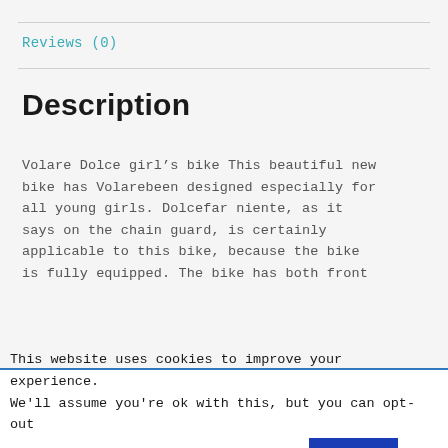Reviews (0)
Description
Volare Dolce girl’s bike This beautiful new bike has Volarebeen designed especially for all young girls. Dolcefar niente, as it says on the chain guard, is certainly applicable to this bike, because the bike is fully equipped. The bike has both front
Please note that you may experience some delays in delivery due to COVID-19 however we will do our utmost best to minimise your inconvenience.
This website uses cookies to improve your experience. We'll assume you're ok with this, but you can opt-out if you wish.   Cookie settings   ACCEPT